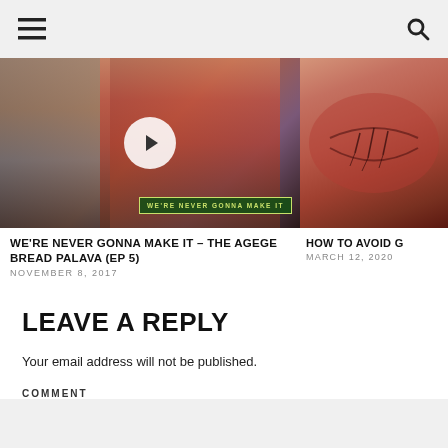≡  🔍
[Figure (screenshot): Video thumbnail showing two people, a woman with glasses holding a notebook and a man in a pink shirt, with a play button overlay and text 'WE'RE NEVER GONNA MAKE IT' at the bottom]
WE'RE NEVER GONNA MAKE IT – THE AGEGE BREAD PALAVA (EP 5)
NOVEMBER 8, 2017
[Figure (photo): Close-up photo of chapped/cracked lips with deep cracks]
HOW TO AVOID G
MARCH 12, 2020
LEAVE A REPLY
Your email address will not be published.
COMMENT